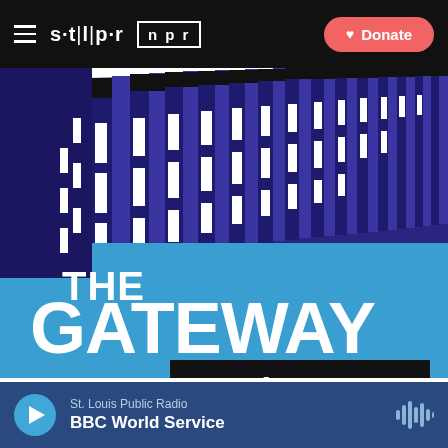stlpr | npr  Donate
[Figure (illustration): The Gateway Newsletter logo artwork: dark blue/purple vertical stripes with white window cutouts forming a perspective architectural facade at top, transitioning to a lighter blue background with large white bold text 'THE GATEWAY' and a black rectangle containing 'Newsletter' in white serif font.]
St. Louis Public Radio  BBC World Service